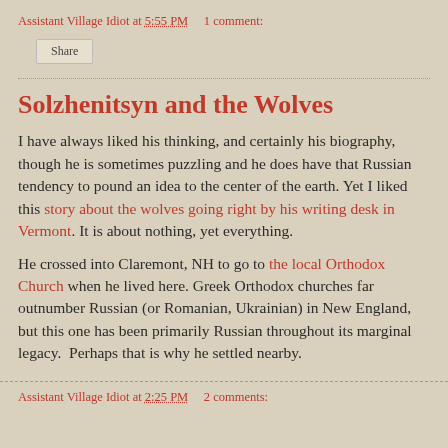Assistant Village Idiot at 5:55 PM    1 comment:
Share
Solzhenitsyn and the Wolves
I have always liked his thinking, and certainly his biography, though he is sometimes puzzling and he does have that Russian tendency to pound an idea to the center of the earth. Yet I liked this story about the wolves going right by his writing desk in Vermont. It is about nothing, yet everything.
He crossed into Claremont, NH to go to the local Orthodox Church when he lived here. Greek Orthodox churches far outnumber Russian (or Romanian, Ukrainian) in New England, but this one has been primarily Russian throughout its marginal legacy.  Perhaps that is why he settled nearby.
Assistant Village Idiot at 2:25 PM    2 comments: